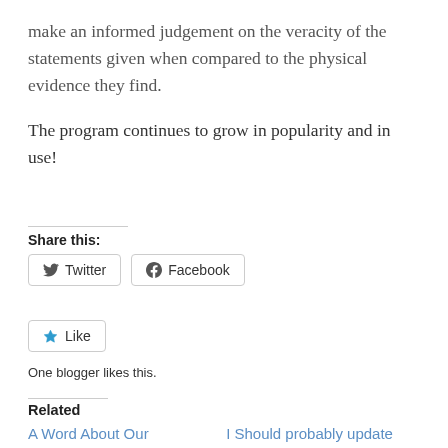make an informed judgement on the veracity of the statements given when compared to the physical evidence they find.
The program continues to grow in popularity and in use!
Share this:
Twitter
Facebook
Like
One blogger likes this.
Related
A Word About Our Sponsor…
I Should probably update more often…